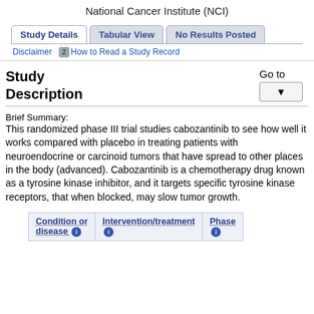National Cancer Institute (NCI)
Study Details | Tabular View | No Results Posted
Disclaimer | How to Read a Study Record
Study Description
Go to
Brief Summary:
This randomized phase III trial studies cabozantinib to see how well it works compared with placebo in treating patients with neuroendocrine or carcinoid tumors that have spread to other places in the body (advanced). Cabozantinib is a chemotherapy drug known as a tyrosine kinase inhibitor, and it targets specific tyrosine kinase receptors, that when blocked, may slow tumor growth.
| Condition or disease | Intervention/treatment | Phase |
| --- | --- | --- |